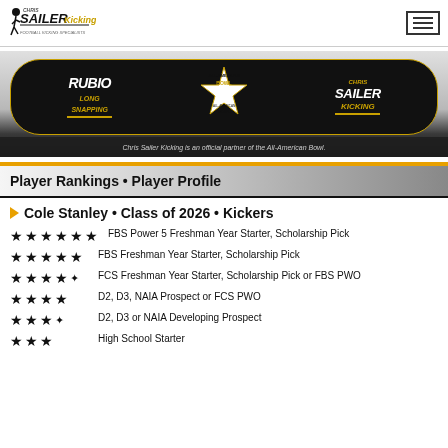Chris Sailer Kicking [logo] | hamburger menu
[Figure (illustration): Banner showing Rubio Long Snapping, All-American Bowl star logo, and Chris Sailer Kicking logos on dark/silver background. Caption: Chris Sailer Kicking is an official partner of the All-American Bowl.]
Player Rankings • Player Profile
Cole Stanley • Class of 2026 • Kickers
★★★★★★ FBS Power 5 Freshman Year Starter, Scholarship Pick
★★★★★ FBS Freshman Year Starter, Scholarship Pick
★★★★½ FCS Freshman Year Starter, Scholarship Pick or FBS PWO
★★★★ D2, D3, NAIA Prospect or FCS PWO
★★★½ D2, D3 or NAIA Developing Prospect
★★★ High School Starter